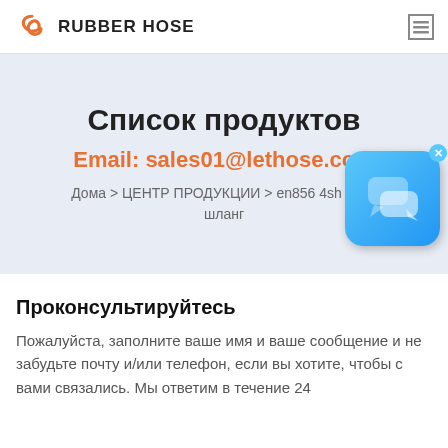RUBBER HOSE
Список продуктов
Email: sales01@lethose.com
Дома > ЦЕНТР ПРОДУКЦИИ > en856 4sh xrp 1 шланг
[Figure (other): Chat/messaging app popup bubble icon with close button]
Проконсультируйтесь
Пожалуйста, заполните ваше имя и ваше сообщение и не забудьте почту и/или телефон, если вы хотите, чтобы с вами связались. Мы ответим в течение 24